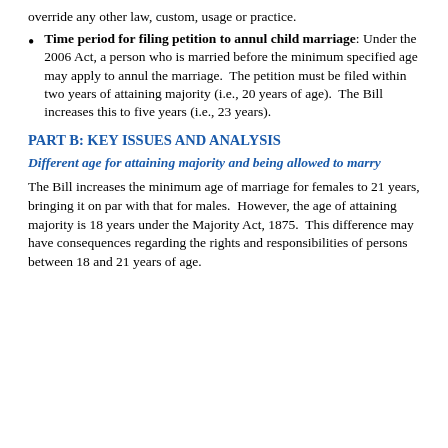override any other law, custom, usage or practice.
Time period for filing petition to annul child marriage: Under the 2006 Act, a person who is married before the minimum specified age may apply to annul the marriage. The petition must be filed within two years of attaining majority (i.e., 20 years of age). The Bill increases this to five years (i.e., 23 years).
PART B: KEY ISSUES AND ANALYSIS
Different age for attaining majority and being allowed to marry
The Bill increases the minimum age of marriage for females to 21 years, bringing it on par with that for males. However, the age of attaining majority is 18 years under the Majority Act, 1875. This difference may have consequences regarding the rights and responsibilities of persons between 18 and 21 years of age.